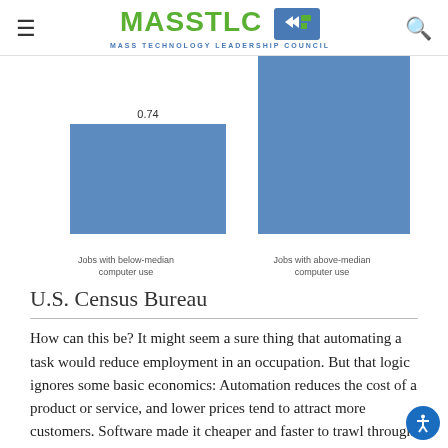MASSTLC — MASS TECHNOLOGY LEADERSHIP COUNCIL
[Figure (bar-chart): ]
Jobs with below-median computer use / Jobs with above-median computer use
U.S. Census Bureau
How can this be? It might seem a sure thing that automating a task would reduce employment in an occupation. But that logic ignores some basic economics: Automation reduces the cost of a product or service, and lower prices tend to attract more customers. Software made it cheaper and faster to trawl through legal documents, so law firms searched more documents and indeed lov...